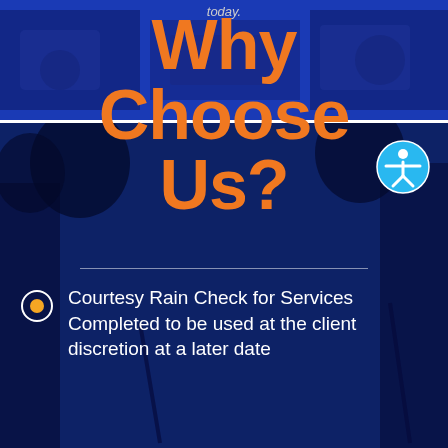today.
Why Choose Us?
Courtesy Rain Check for Services Completed to be used at the client discretion at a later date